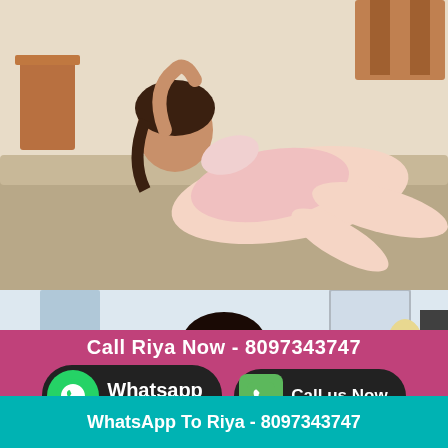[Figure (photo): Young woman in pink outfit reclining on a sofa/couch in an indoor setting]
[Figure (photo): Young woman with dark hair in a room, partial view, indoor setting]
Call Riya Now - 8097343747
Whatsapp
click to chat
Call us Now.
WhatsApp To Riya - 8097343747